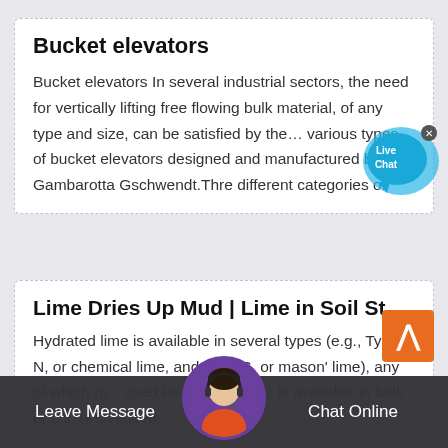Bucket elevators
Bucket elevators In several industrial sectors, the need for vertically lifting free flowing bulk material, of any type and size, can be satisfied by the… various types of bucket elevators designed and manufactured by Gambarotta Gschwendt.Three different categories of
Lime Dries Up Mud | Lime in Soil St...
Hydrated lime is available in several types (e.g., Type N, or chemical lime, and Type S, or mason' lime), any of which m... used for drying. Lim... is available in bulk or... s. (Pulverized
Leave Message
Chat Online